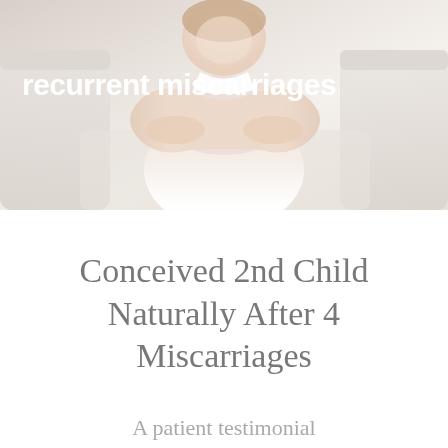[Figure (photo): A woman sitting on a sofa hugging her knees, photographed from the front. The image has a soft, light background. White bold text overlaid reads 'recurrent miscarriages'.]
Conceived 2nd Child Naturally After 4 Miscarriages
A patient testimonial